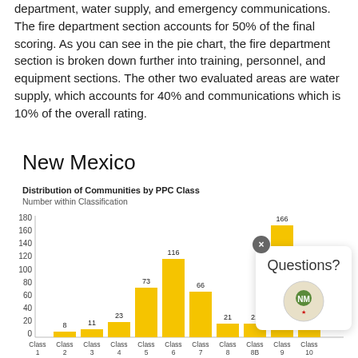department, water supply, and emergency communications. The fire department section accounts for 50% of the final scoring. As you can see in the pie chart, the fire department section is broken down further into training, personnel, and equipment sections. The other two evaluated areas are water supply, which accounts for 40% and communications which is 10% of the overall rating.
New Mexico
Distribution of Communities by PPC Class
Number within Classification
[Figure (bar-chart): Distribution of Communities by PPC Class]